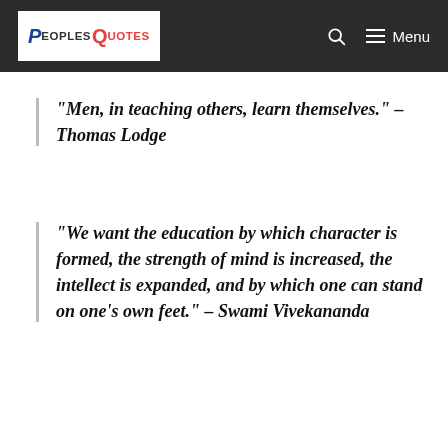PeoplesQuotes — Menu
“Men, in teaching others, learn themselves.” – Thomas Lodge
“We want the education by which character is formed, the strength of mind is increased, the intellect is expanded, and by which one can stand on one’s own feet.” – Swami Vivekananda